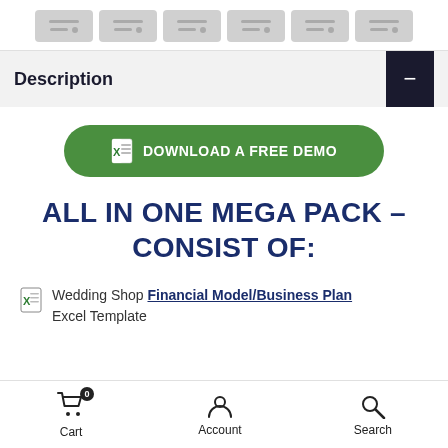[Figure (screenshot): Navigation tab bar with 6 grey placeholder tabs]
Description
[Figure (other): Green rounded button with Excel icon: DOWNLOAD A FREE DEMO]
ALL IN ONE MEGA PACK – CONSIST OF:
Wedding Shop Financial Model/Business Plan Excel Template
Cart  Account  Search